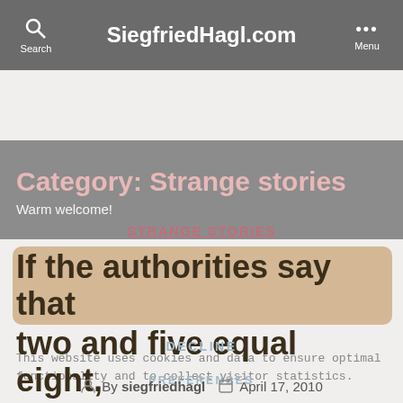SiegfriedHagl.com
Category: Strange stories
Warm welcome!
This website uses cookies and data to ensure optimal functionality and to collect visitor statistics.
STRANGE STORIES
If the authorities say that two and five equal eight, you must believe them.
DECLINE
PREFERENCES
By siegfriedhagl    April 17, 2010